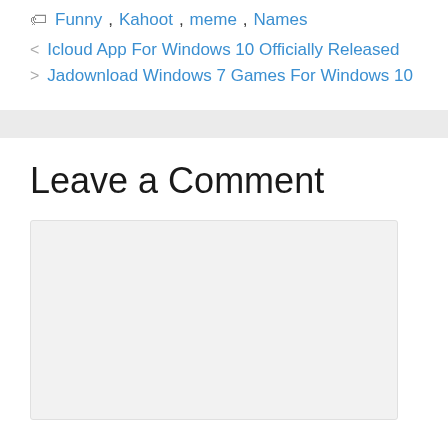Funny, Kahoot, meme, Names
< Icloud App For Windows 10 Officially Released
> Jadownload Windows 7 Games For Windows 10
Leave a Comment